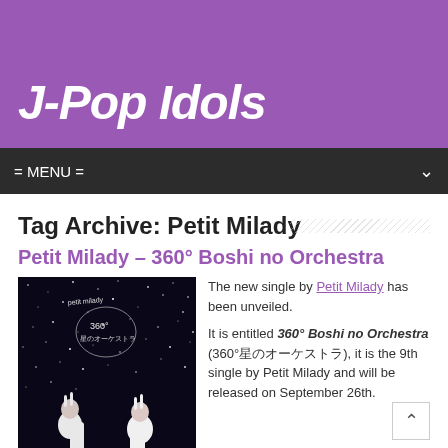J-Pop Idols
= MENU =
Tag Archive: Petit Milady
Petit Milady – 360° Boshi no Orchestra
[Figure (photo): Album cover for 360° Boshi no Orchestra by Petit Milady — two young women in white outfits against a starry night background with handwritten Japanese text overlay]
The new single by Petit Milady has been unveiled.

It is entitled 360° Boshi no Orchestra (360°星のオーケストラ), it is the 9th single by Petit Milady and will be released on September 26th.